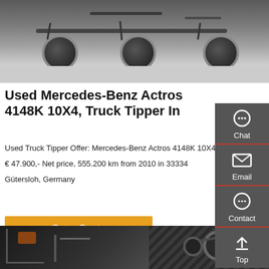[Figure (photo): Underside/undercarriage of a truck showing axle, wheels, and chassis components from below]
Used Mercedes-Benz Actros 4148K 10X4, Truck Tipper In
Used Truck Tipper Offer: Mercedes-Benz Actros 4148K 10X4
€ 47.900,- Net price, 555.200 km from 2010 in 33334
Gütersloh, Germany
Get a Quote
[Figure (photo): Close-up of truck mechanical components including belts, hoses, and engine parts]